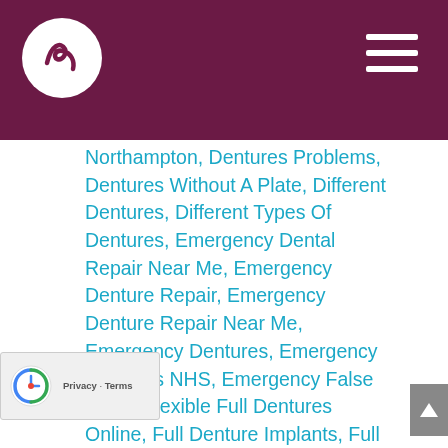Dental clinic website header with logo and hamburger menu
Northampton, Dentures Problems, Dentures Without A Plate, Different Dentures, Different Types Of Dentures, Emergency Dental Repair Near Me, Emergency Denture Repair, Emergency Denture Repair Near Me, Emergency Dentures, Emergency Dentures NHS, Emergency False Teeth, Flexible Full Dentures Online, Full Denture Implants, Full Dentures, Full Dentures Price, Full Mouth Dentures, Full Set Of Dentures, How Do Dentures Work, How Do Partial Dentures Work, How Much Are Partial Dentures, How Much Are Top Dentures, How Much Do Dentures Cost, How Much Do Dentures Cost On Average, How Much Do Top Dentures Cost, How Much Does A Set Of Dentures Cost, How Much Does It Cost For Dentures, How Much Is A Full Set Of Dentures, How Much Is A Set Of Dentures, How To Get Dentures, Milton Keynes Dental Clinic, Milton Keynes Dental Practice, milton keynes dentist, Milton Keynes Dentist